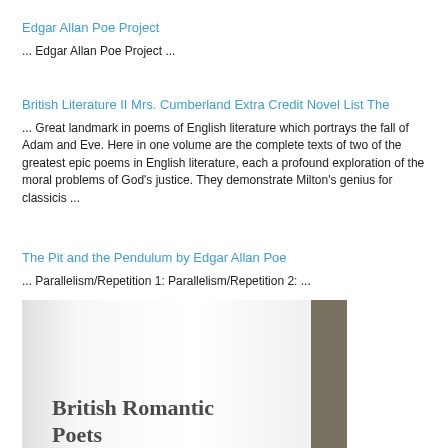Edgar Allan Poe Project
... Edgar Allan Poe Project ...
British Literature II Mrs. Cumberland Extra Credit Novel List The
... Great landmark in poems of English literature which portrays the fall of Adam and Eve. Here in one volume are the complete texts of two of the greatest epic poems in English literature, each a profound exploration of the moral problems of God's justice. They demonstrate Milton's genius for classicis ...
The Pit and the Pendulum by Edgar Allan Poe
... Parallelism/Repetition 1: Parallelism/Repetition 2: ...
[Figure (illustration): Book cover image showing 'British Romantic Poets' with a white/grey page and dark brown spine]